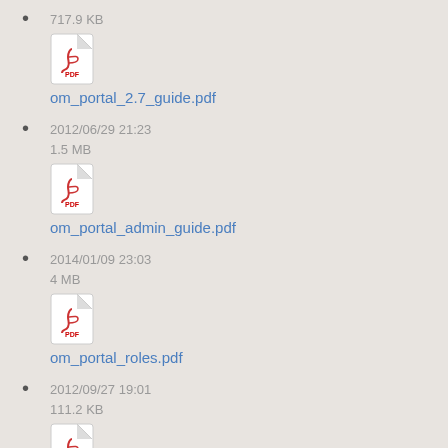717.9 KB
om_portal_2.7_guide.pdf
2012/06/29 21:23
1.5 MB
om_portal_admin_guide.pdf
2014/01/09 23:03
4 MB
om_portal_roles.pdf
2012/09/27 19:01
111.2 KB
om_provisioning_api.pdf